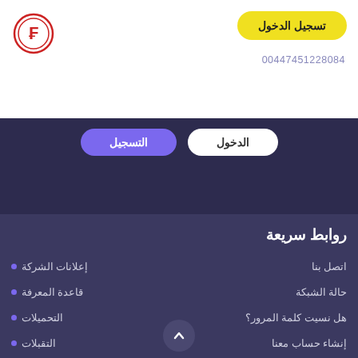[Figure (logo): Circular logo with red border and stylized letter icon]
تسجيل الدخول
00447451228084
الدخول
التسجيل
روابط سريعة
اتصل بنا
إعلانات الشركة
حالة الشبكة
قاعدة المعرفة
هل نسيت كلمة المرور؟
التحميلات
إنشاء حساب معنا
التقبلات